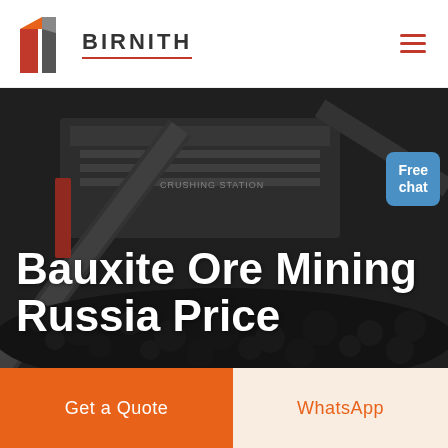[Figure (logo): Birnith company logo with orange/red building icon and brand name BIRNITH in bold letters with red underline, plus hamburger menu icon]
[Figure (photo): Dark mining/crushing station industrial machinery scene with coal or ore rocks in foreground, construction equipment in background. Text overlay: 'Bauxite Ore Mining Russia Price'. Free chat bubble in top right.]
Bauxite Ore Mining Russia Price
Get a Quote
WhatsApp